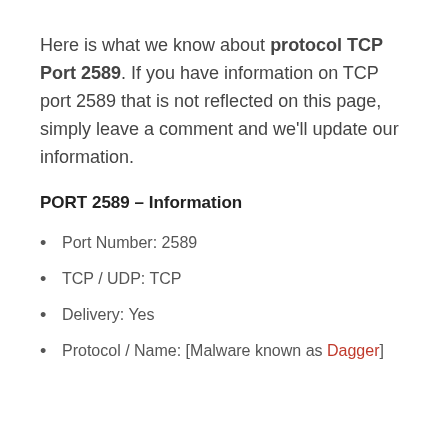Here is what we know about protocol TCP Port 2589. If you have information on TCP port 2589 that is not reflected on this page, simply leave a comment and we'll update our information.
PORT 2589 – Information
Port Number: 2589
TCP / UDP: TCP
Delivery: Yes
Protocol / Name: [Malware known as Dagger]